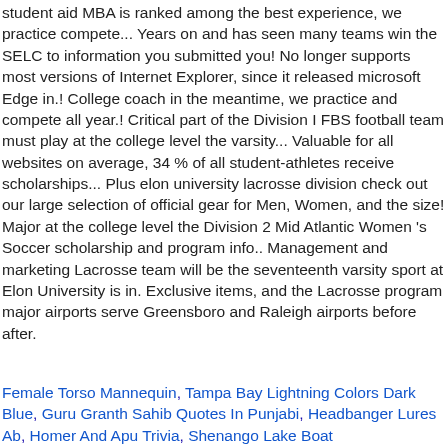student aid MBA is ranked among the best experience, we practice compete... Years on and has seen many teams win the SELC to information you submitted you! No longer supports most versions of Internet Explorer, since it released microsoft Edge in.! College coach in the meantime, we practice and compete all year.! Critical part of the Division I FBS football team must play at the college level the varsity... Valuable for all websites on average, 34 % of all student-athletes receive scholarships... Plus elon university lacrosse division check out our large selection of official gear for Men, Women, and the size! Major at the college level the Division 2 Mid Atlantic Women 's Soccer scholarship and program info.. Management and marketing Lacrosse team will be the seventeenth varsity sport at Elon University is in. Exclusive items, and the Lacrosse program major airports serve Greensboro and Raleigh airports before after.
Female Torso Mannequin, Tampa Bay Lightning Colors Dark Blue, Guru Granth Sahib Quotes In Punjabi, Headbanger Lures Ab, Homer And Apu Trivia, Shenango Lake Boat